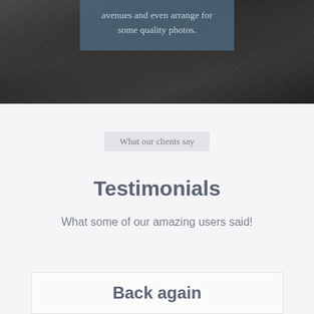[Figure (photo): Dark rocky texture background with a semi-transparent steel blue overlay box containing text about marketing avenues and quality photos]
avenues and even arrange for some quality photos.
What our clients say
Testimonials
What some of our amazing users said!
Back again